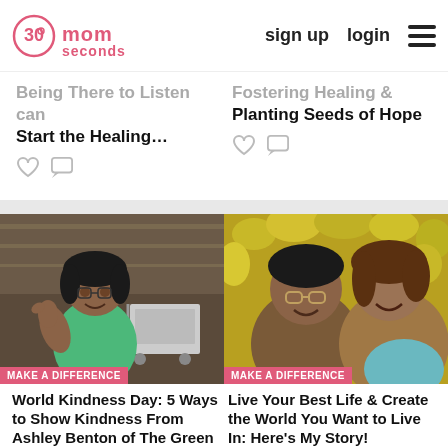30 seconds mom | sign up | login
Being There to Listen can Start the Healing Process!
Fostering Healing & Planting Seeds of Hope
[Figure (photo): Woman in green shirt giving thumbs up near shopping carts with MAKE A DIFFERENCE badge]
[Figure (photo): Two women smiling together outdoors with yellow flowers in background with MAKE A DIFFERENCE badge]
World Kindness Day: 5 Ways to Show Kindness From Ashley Benton of The Green Team Helping Hands Inc.
Live Your Best Life & Create the World You Want to Live In: Here's My Story!